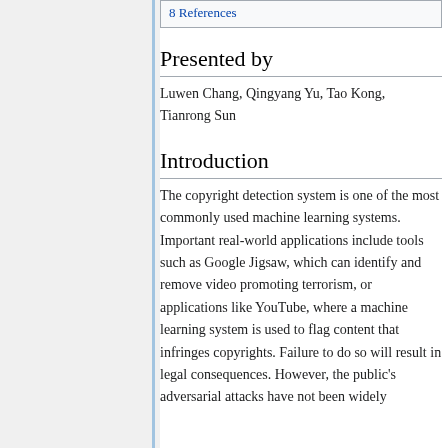8 References
Presented by
Luwen Chang, Qingyang Yu, Tao Kong, Tianrong Sun
Introduction
The copyright detection system is one of the most commonly used machine learning systems. Important real-world applications include tools such as Google Jigsaw, which can identify and remove video promoting terrorism, or applications like YouTube, where a machine learning system is used to flag content that infringes copyrights. Failure to do so will result in legal consequences. However, the public's adversarial attacks have not been widely